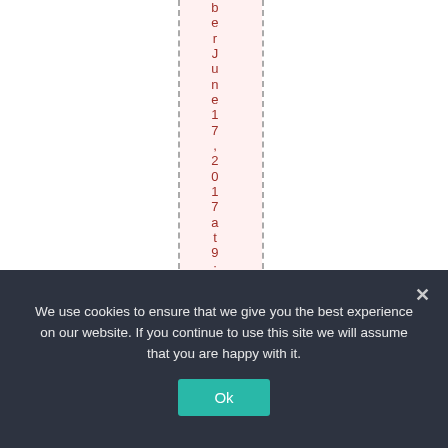b e r J u n e 1 7 , 2 0 1 7 a t 9 :
We use cookies to ensure that we give you the best experience on our website. If you continue to use this site we will assume that you are happy with it.